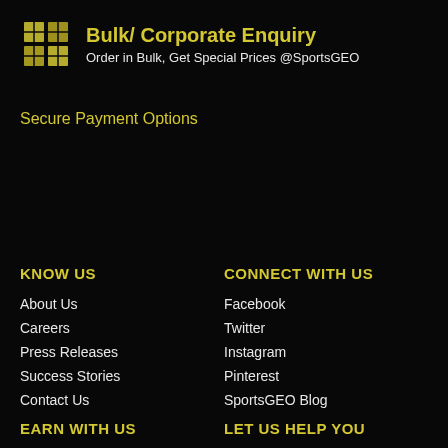Bulk/ Corporate Enquiry
Order in Bulk, Get Special Prices @SportsGEO
Secure Payment Options
KNOW US
About Us
Careers
Press Releases
Success Stories
Contact Us
CONNECT WITH US
Facebook
Twitter
Instagram
Pinterest
SportsGEO Blog
EARN WITH US
LET US HELP YOU